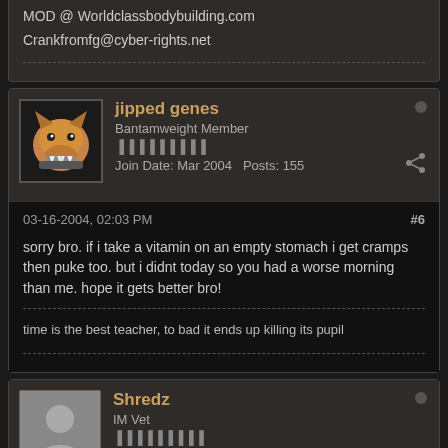MOD @ Worldclassbodybuilding.com

Crankfromfg@cyber-rights.net
jipped genes
Bantamweight Member
Join Date: Mar 2004   Posts: 155
03-16-2004, 02:03 PM
#6
sorry bro. if i take a vitamin on an empty stomach i get cramps then puke too. but i didnt today so you had a worse morning than me. hope it gets better bro!
time is the best teacher, to bad it ends up killing its pupil
Shredz
IM Vet